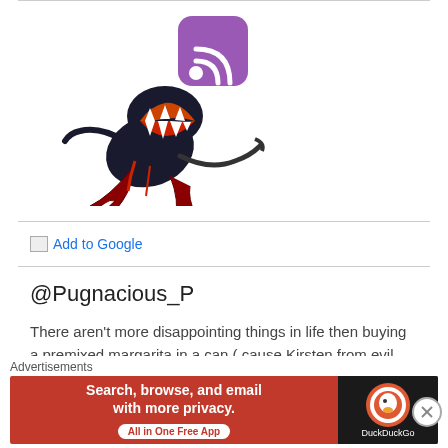[Figure (illustration): A dark creature/monster character with open mouth and claws, with a purple RSS feed icon overlaid on its head]
Add to Google
@Pugnacious_P
There aren't more disappointing things in life then buying a premixed margarita in a can ( cause Kirsten from evil…
Advertisements
[Figure (infographic): DuckDuckGo advertisement banner: 'Search, browse, and email with more privacy. All in One Free App' with DuckDuckGo logo]